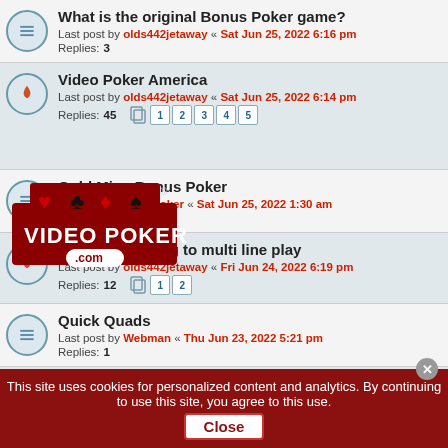What is the original Bonus Poker game?
Last post by olds442jetaway « Sat Jun 25, 2022 6:16 pm
Replies: 3
Video Poker America
Last post by olds442jetaway « Sat Jun 25, 2022 6:14 pm
Replies: 45
Pages: 1 2 3 4 5
[Figure (logo): Video Poker .com logo overlay with card suits]
Gold Mine Bonus Poker
Last post by The Broker « Sat Jun 25, 2022 1:30 am
Replies: 8
Finally switching to multi line play
Last post by olds442jetaway « Fri Jun 24, 2022 6:19 pm
Replies: 12
Pages: 1 2
Quick Quads
Last post by Webman « Thu Jun 23, 2022 5:21 pm
Replies: 1
One Pair's 1st time on forum.
This site uses cookies for personalized content and analytics. By continuing to use this site, you agree to this use. Close